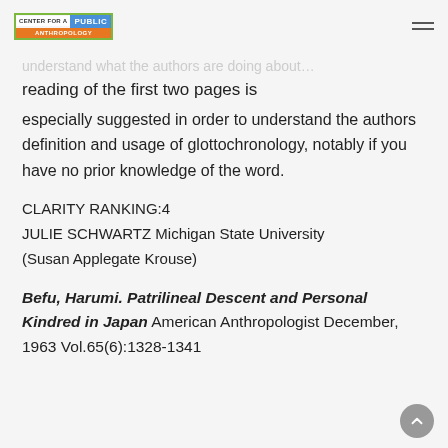CENTER FOR A PUBLIC ANTHROPOLOGY
understand what the authors are doing about… reading of the first two pages is especially suggested in order to understand the authors definition and usage of glottochronology, notably if you have no prior knowledge of the word.
CLARITY RANKING:4
JULIE SCHWARTZ Michigan State University
(Susan Applegate Krouse)
Befu, Harumi. Patrilineal Descent and Personal Kindred in Japan American Anthropologist December, 1963 Vol.65(6):1328-1341